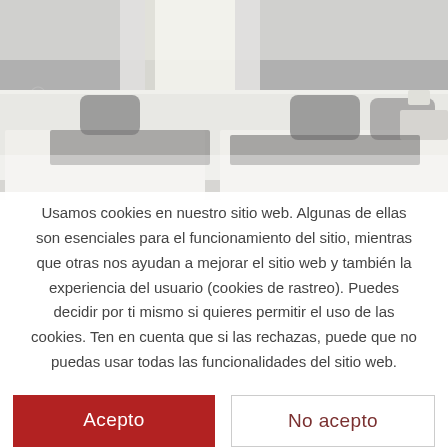[Figure (photo): Hotel bedroom with two beds, white headboard, grey walls, white curtains, bedside table with wine glass and water bottle]
Usamos cookies en nuestro sitio web. Algunas de ellas son esenciales para el funcionamiento del sitio, mientras que otras nos ayudan a mejorar el sitio web y también la experiencia del usuario (cookies de rastreo). Puedes decidir por ti mismo si quieres permitir el uso de las cookies. Ten en cuenta que si las rechazas, puede que no puedas usar todas las funcionalidades del sitio web.
Acepto
No acepto